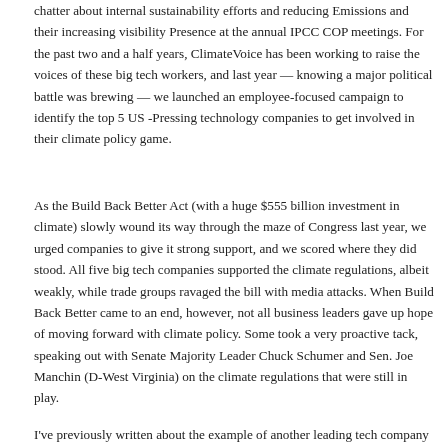chatter about internal sustainability efforts and reducing Emissions and their increasing visibility Presence at the annual IPCC COP meetings. For the past two and a half years, ClimateVoice has been working to raise the voices of these big tech workers, and last year — knowing a major political battle was brewing — we launched an employee-focused campaign to identify the top 5 US -Pressing technology companies to get involved in their climate policy game.
As the Build Back Better Act (with a huge $555 billion investment in climate) slowly wound its way through the maze of Congress last year, we urged companies to give it strong support, and we scored where they did stood. All five big tech companies supported the climate regulations, albeit weakly, while trade groups ravaged the bill with media attacks. When Build Back Better came to an end, however, not all business leaders gave up hope of moving forward with climate policy. Some took a very proactive tack, speaking out with Senate Majority Leader Chuck Schumer and Sen. Joe Manchin (D-West Virginia) on the climate regulations that were still in play.
I've previously written about the example of another leading tech company